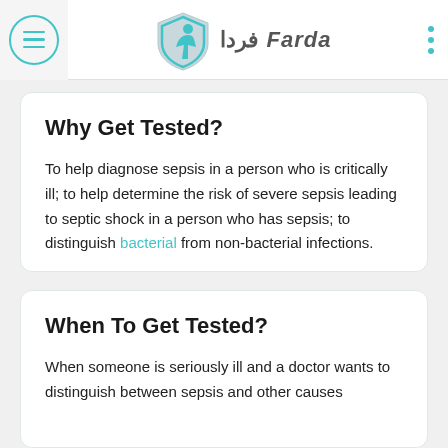Farda فردا
Why Get Tested?
To help diagnose sepsis in a person who is critically ill; to help determine the risk of severe sepsis leading to septic shock in a person who has sepsis; to distinguish bacterial from non-bacterial infections.
When To Get Tested?
When someone is seriously ill and a doctor wants to distinguish between sepsis and other causes